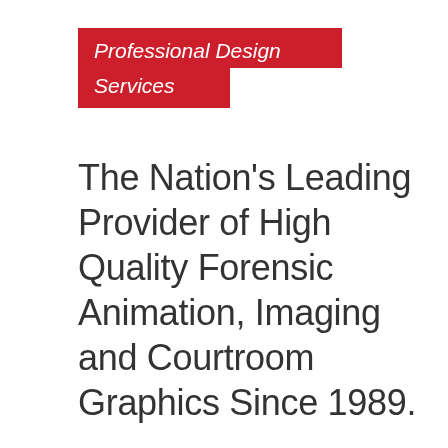Professional Design Services
The Nation's Leading Provider of High Quality Forensic Animation, Imaging and Courtroom Graphics Since 1989.